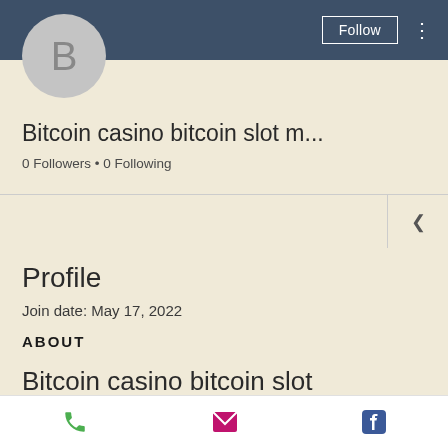[Figure (screenshot): User profile avatar circle with letter B on dark blue top bar with Follow button and three-dot menu]
Bitcoin casino bitcoin slot m...
0 Followers • 0 Following
Profile
Join date: May 17, 2022
ABOUT
Bitcoin casino bitcoin slot